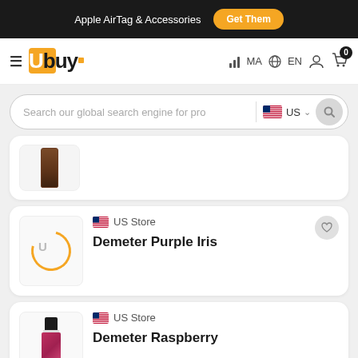Apple AirTag & Accessories  Get Them
[Figure (logo): Ubuy logo with hamburger menu, country and language selectors (MA, EN), user account icon, and shopping cart with 0 badge]
[Figure (screenshot): Search bar with placeholder 'Search our global search engine for pro', US flag and 'US' selector, and search button]
[Figure (photo): Partial product card showing a product image (brown bottle/lipstick)]
US Store  Demeter Purple Iris
US Store  Demeter Raspberry